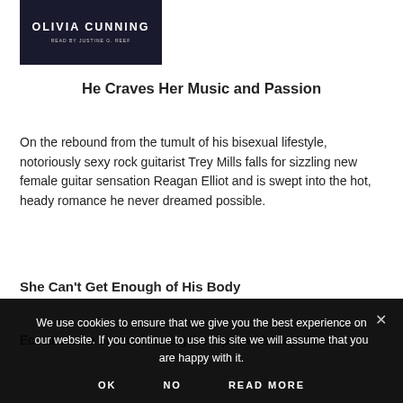[Figure (illustration): Book cover for Olivia Cunning audiobook, dark background with author name in large white uppercase letters and small text 'READ BY JUSTINE G. REEF']
He Craves Her Music and Passion
On the rebound from the tumult of his bisexual lifestyle, notoriously sexy rock guitarist Trey Mills falls for sizzling new female guitar sensation Reagan Elliot and is swept into the hot, heady romance he never dreamed possible.
She Can't Get Enough of His Body
Ecstatic to be on tour learning the ropes with Trey's band,
We use cookies to ensure that we give you the best experience on our website. If you continue to use this site we will assume that you are happy with it.
OK   NO   READ MORE